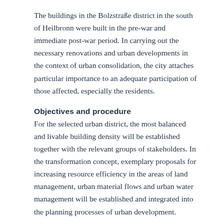The buildings in the Bolzstraße district in the south of Heilbronn were built in the pre-war and immediate post-war period. In carrying out the necessary renovations and urban developments in the context of urban consolidation, the city attaches particular importance to an adequate participation of those affected, especially the residents.
Objectives and procedure
For the selected urban district, the most balanced and livable building density will be established together with the relevant groups of stakeholders. In the transformation concept, exemplary proposals for increasing resource efficiency in the areas of land management, urban material flows and urban water management will be established and integrated into the planning processes of urban development.
Expected results and transfer